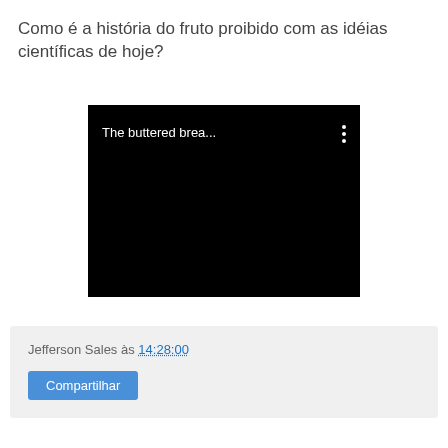Como é a história do fruto proibido com as idéias científicas de hoje?
[Figure (screenshot): Black video player thumbnail showing text 'The buttered brea...' with a vertical three-dot menu icon in the upper right corner.]
Jefferson Sales às 14:28:00
Compartilhar